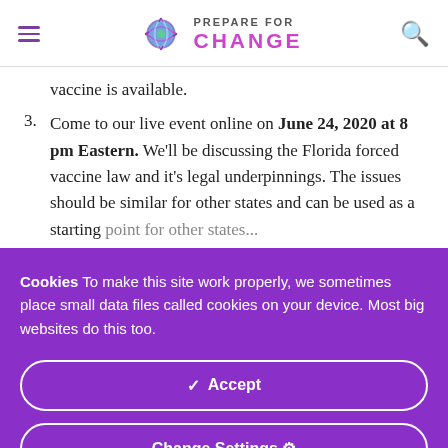PREPARE FOR CHANGE
vaccine is available.
Come to our live event online on June 24, 2020 at 8 pm Eastern. We'll be discussing the Florida forced vaccine law and it's legal underpinnings. The issues should be similar for other states and can be used as a starting point for other states...
Cookies To make this site work properly, we sometimes place small data files called cookies on your device. Most big websites do this too.
Accept
Change Settings